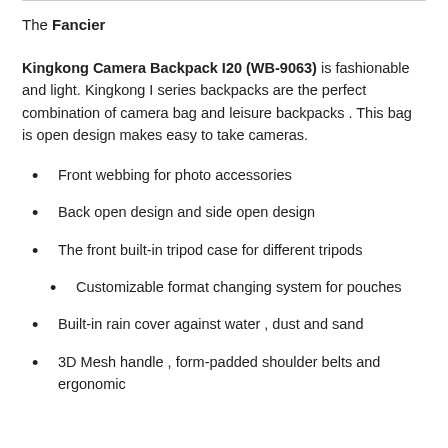The Fancier
Kingkong Camera Backpack I20 (WB-9063) is fashionable and light. Kingkong I series backpacks are the perfect combination of camera bag and leisure backpacks . This bag is open design makes easy to take cameras.
Front webbing for photo accessories
Back open design and side open design
The front built-in tripod case for different tripods
Customizable format changing system for pouches
Built-in rain cover against water , dust and sand
3D Mesh handle , form-padded shoulder belts and ergonomic